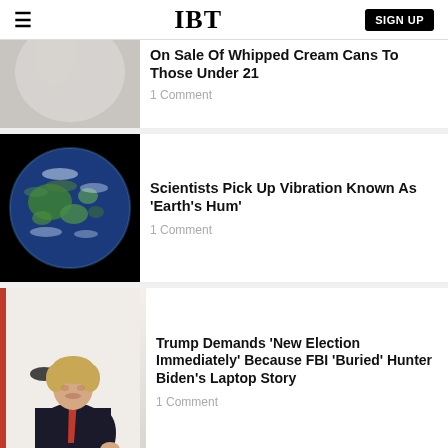IBT | SIGN UP
On Sale Of Whipped Cream Cans To Those Under 21
1 Comment
Scientists Pick Up Vibration Known As 'Earth's Hum'
1 Comment
Trump Demands 'New Election Immediately' Because FBI 'Buried' Hunter Biden's Laptop Story
1 Comment